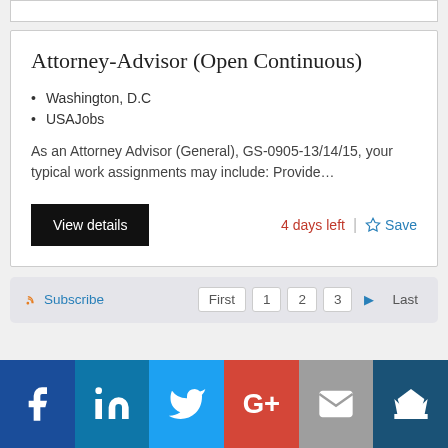Attorney-Advisor (Open Continuous)
Washington, D.C
USAJobs
As an Attorney Advisor (General), GS-0905-13/14/15, your typical work assignments may include: Provide…
View details | 4 days left | Save
Subscribe | First | 1 | 2 | 3 | ▶ | Last
[Figure (infographic): Social media share buttons: Facebook, LinkedIn, Twitter, Google+, Email, Crown icon]